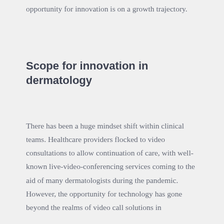opportunity for innovation is on a growth trajectory.
Scope for innovation in dermatology
There has been a huge mindset shift within clinical teams. Healthcare providers flocked to video consultations to allow continuation of care, with well-known live-video-conferencing services coming to the aid of many dermatologists during the pandemic. However, the opportunity for technology has gone beyond the realms of video call solutions in